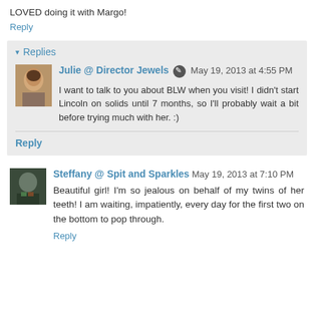LOVED doing it with Margo!
Reply
▾ Replies
Julie @ Director Jewels  May 19, 2013 at 4:55 PM
I want to talk to you about BLW when you visit! I didn't start Lincoln on solids until 7 months, so I'll probably wait a bit before trying much with her. :)
Reply
Steffany @ Spit and Sparkles  May 19, 2013 at 7:10 PM
Beautiful girl! I'm so jealous on behalf of my twins of her teeth! I am waiting, impatiently, every day for the first two on the bottom to pop through.
Reply